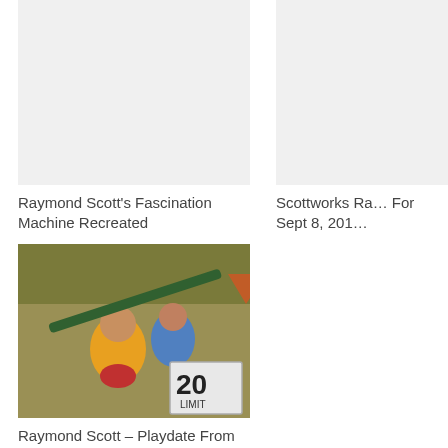Raymond Scott’s Fascination Machine Recreated
Scottworks Ra… For Sept 8, 201…
[Figure (photo): Two men outdoors in a field, one wearing yellow and one wearing blue, wrestling with a green metal pole and a road sign showing '20 LIMIT'.]
Raymond Scott – Playdate From Soothing Sounds For Baby (Unofficial Music Video)